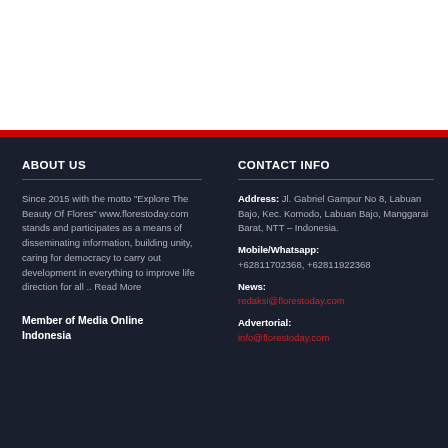ABOUT US
Since 2015 with the motto "Explore The Beauty Of Flores" www.florestoday.com stands and participates as a means of disseminating information, building unity, caring for democracy to carry out development in everything to improve life direction for all .. Read More
Member of Media Online Indonesia
CONTACT INFO
Address: Jl. Gabriel Gampur No 8, Labuan Bajo, Kec. Komodo, Labuan Bajo, Manggarai Barat, NTT – Indonesia.
Mobile/Whatsapp: +62811702368, +62811922368
News: redaksi@florestoday.com
Advertorial: info@florestoday.com